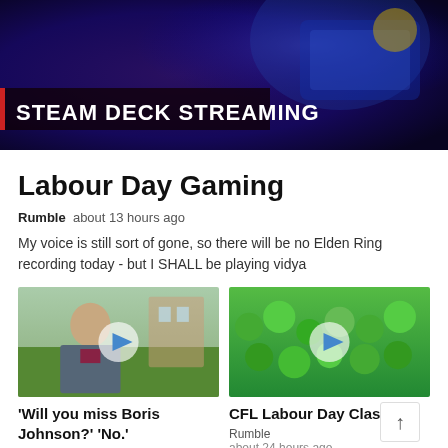[Figure (screenshot): Steam Deck Streaming thumbnail with dark purple/blue background and bold white text overlay]
Labour Day Gaming
Rumble  about 13 hours ago
My voice is still sort of gone, so there will be no Elden Ring recording today - but I SHALL be playing vidya
[Figure (photo): Man in suit standing outdoors with play button overlay]
[Figure (photo): Crowd of people in green shirts with play button overlay]
'Will you miss Boris Johnson?' 'No.'
ODN
CFL Labour Day Classic
Rumble
about 24 hours ago